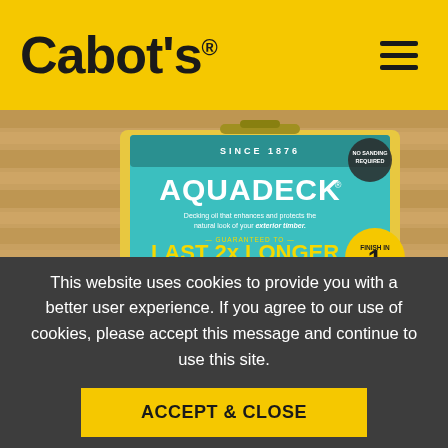Cabot's
[Figure (photo): Cabot's Aquadeck 4 litre paint tin with teal/blue label. Label shows 'AQUADECK' in large white text, 'Decking oil that enhances and protects the natural look of your exterior timber', 'GUARANTEED TO LAST 2x LONGER THAN OIL BASED DECKING OILS', 'FINISH IN 1 DAY' badge, and specs: 4 LITRE, 1HR RE-COAT, 24M2 COVERAGE PER CAN WITH 2 COATS, UV PROTECTION, WATER WASH UP]
This website uses cookies to provide you with a better user experience. If you agree to our use of cookies, please accept this message and continue to use this site.
ACCEPT & CLOSE